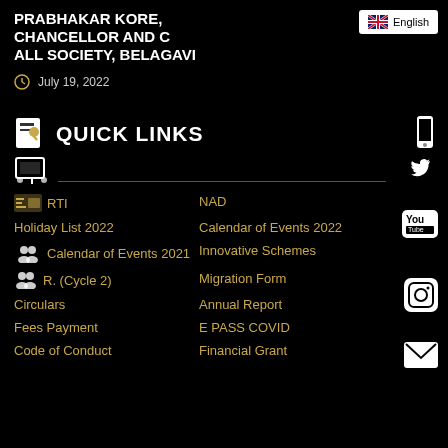PRABHAKAR KORE, CHANCELLOR AND CHANCELLOR ALL SOCIETY, BELAGAVI
July 19, 2022
QUICK LINKS
RTI
NAD
Holiday List 2022
Calendar of Events 2022
Calendar of Events 2021
Innovative Schemes
R. (Cycle 2)
Migration Form
Circulars
Annual Report
Fees Payment
E PASS COVID
Code of Conduct
Financial Grant